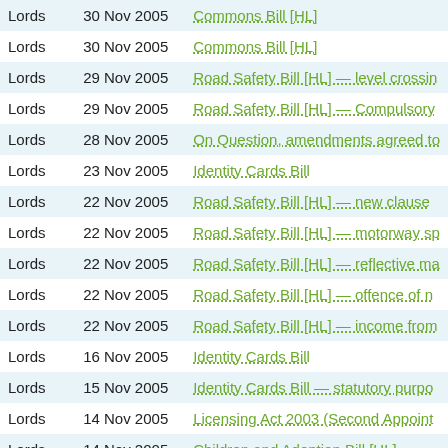| Chamber | Date | Bill |
| --- | --- | --- |
| Lords | 30 Nov 2005 | Commons Bill [HL] |
| Lords | 30 Nov 2005 | Commons Bill [HL] |
| Lords | 29 Nov 2005 | Road Safety Bill [HL] — level crossin... |
| Lords | 29 Nov 2005 | Road Safety Bill [HL] — Compulsory... |
| Lords | 28 Nov 2005 | On Question, amendments agreed to... |
| Lords | 23 Nov 2005 | Identity Cards Bill |
| Lords | 22 Nov 2005 | Road Safety Bill [HL] — new clause... |
| Lords | 22 Nov 2005 | Road Safety Bill [HL] — motorway sp... |
| Lords | 22 Nov 2005 | Road Safety Bill [HL] — reflective ma... |
| Lords | 22 Nov 2005 | Road Safety Bill [HL] — offence of n... |
| Lords | 22 Nov 2005 | Road Safety Bill [HL] — income from... |
| Lords | 16 Nov 2005 | Identity Cards Bill |
| Lords | 15 Nov 2005 | Identity Cards Bill — statutory purpo... |
| Lords | 14 Nov 2005 | Licensing Act 2003 (Second Appoint... |
| Lords | 14 Nov 2005 | Children and Adoption Bill [HL] |
| Lords | 14 Nov 2005 | Children and Adoption Bill [HL] |
| Lords | 9 Nov 2005 | Equality Bill [HL] |
| Lords | 8 Nov 2005 | Racial and Religious Hatred Bill |
| Lords | 25 Oct 2005 | Racial and Religious Hatred Bill |